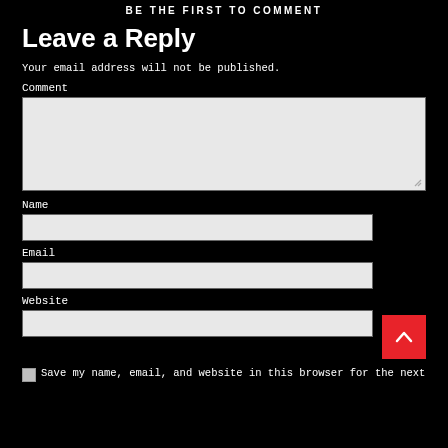BE THE FIRST TO COMMENT
Leave a Reply
Your email address will not be published.
Comment
Name
Email
Website
Save my name, email, and website in this browser for the next